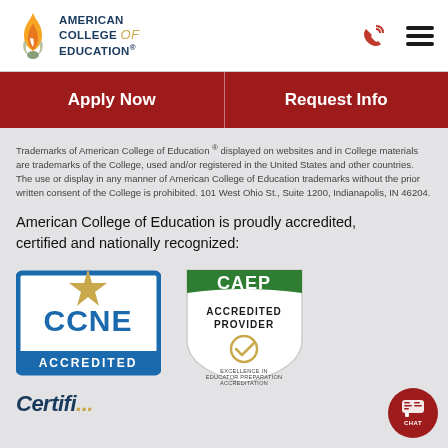[Figure (logo): American College of Education logo with flame icon and text]
[Figure (logo): Phone icon and hamburger menu icon]
Apply Now
Request Info
Trademarks of American College of Education ® displayed on websites and in College materials are trademarks of the College, used and/or registered in the United States and other countries. The use or display in any manner of American College of Education trademarks without the prior written consent of the College is prohibited. 101 West Ohio St., Suite 1200, Indianapolis, IN 46204.
American College of Education is proudly accredited, certified and nationally recognized:
[Figure (logo): CCNE Accredited badge with blue border and gold star]
[Figure (logo): CAEP Accredited Provider shield badge with Excellence in Educator Preparation Accreditation text]